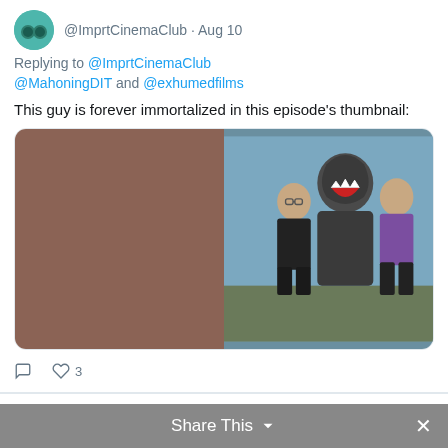@ImprtCinemaClub · Aug 10
Replying to @ImprtCinemaClub @MahoningDIT and @exhumedfilms
This guy is forever immortalized in this episode's thumbnail:
[Figure (photo): Two-panel image: left panel is brown/tan color block (obscured), right panel shows three people posing outdoors — a man in black t-shirt and shorts, a person in a dinosaur/monster costume with open mouth, and an older man in purple shirt]
3 likes
The Important Cinema Club
@ImprtCinemaClub · Aug 10
New Episode!
Share This